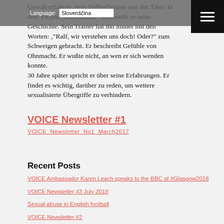Gewalt erfahren. Sein Fußballtrainer war der Täter. In dem Projekt 'unbreakable' beschreibt er seine Geschichte. Sein Trainer hat ihn immer mit den Worten: ,'Ralf, wir verstehen uns doch! Oder?' zum Schweigen gebracht. Er beschreibt Gefühle von Ohnmacht. Er wußte nicht, an wen er sich wenden konnte.
30 Jahre später spricht er über seine Erfahrungen. Er findet es wichtig, darüber zu reden, um weitere sexualisierte Übergriffe zu verhindern.
VOICE Newsletter #1
VOICE Newsletter No1 March2017
Recent Posts
VOICE Ambassador Karen Leach speaks to the BBC at #Glasgow2018
VOICE Newsletter #3 July 2018
Sexual abuse in English football
VOICE Newsletter #2